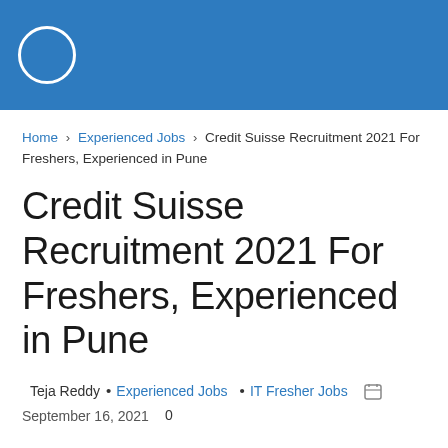[Figure (logo): Blue banner header with white circle outline logo on left]
Home › Experienced Jobs › Credit Suisse Recruitment 2021 For Freshers, Experienced in Pune
Credit Suisse Recruitment 2021 For Freshers, Experienced in Pune
Teja Reddy • Experienced Jobs • IT Fresher Jobs  September 16, 2021  0